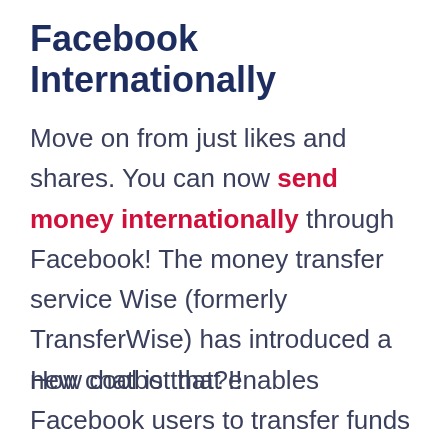Facebook Internationally
Move on from just likes and shares. You can now send money internationally through Facebook! The money transfer service Wise (formerly TransferWise) has introduced a new chatbot that enables Facebook users to transfer funds abroad using the social network's Messenger app.
How cool is that?!!